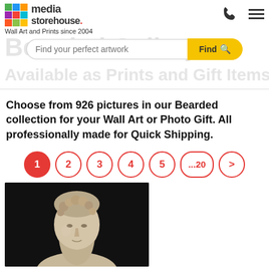media storehouse. Wall Art and Prints since 2004
Bearded Gallery
Find your perfect artwork
Available as Prints and Gift Items
Choose from 926 pictures in our Bearded collection for your Wall Art or Photo Gift. All professionally made for Quick Shipping.
1 2 3 4 5 ...20 >
[Figure (photo): A marble sculpture bust of a bearded man (possibly Marcus Aurelius) photographed against a dark background]